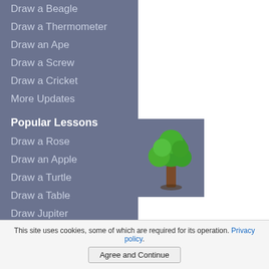Draw a Beagle
Draw a Thermometer
Draw an Ape
Draw a Screw
Draw a Cricket
More Updates
Popular Lessons
Draw a Rose
Draw an Apple
Draw a Turtle
Draw a Table
Draw Jupiter
Draw a Basketball
[Figure (illustration): Illustration of a green tree with brown trunk on a dark blue-grey background]
This site uses cookies, some of which are required for its operation. Privacy policy.
Agree and Continue